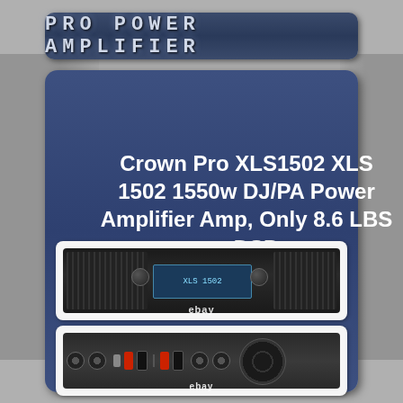PRO POWER AMPLIFIER
Crown Pro XLS1502 XLS 1502 1550w DJ/PA Power Amplifier Amp, Only 8.6 LBS + DSP
[Figure (photo): Front panel view of Crown XLS1502 power amplifier with ebay watermark]
[Figure (photo): Rear panel view of Crown XLS1502 power amplifier showing connectors and fan, with ebay watermark]